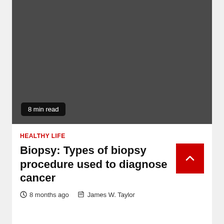[Figure (photo): Dark gray hero image placeholder for a biopsy article]
8 min read
HEALTHY LIFE
Biopsy: Types of biopsy procedure used to diagnose cancer
8 months ago  James W. Taylor